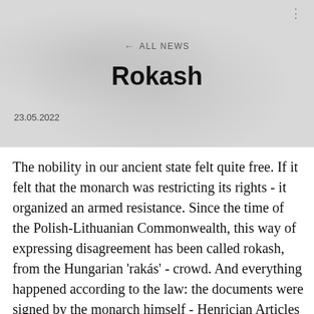← ALL NEWS
Rokash
23.05.2022
The nobility in our ancient state felt quite free. If it felt that the monarch was restricting its rights - it organized an armed resistance. Since the time of the Polish-Lithuanian Commonwealth, this way of expressing disagreement has been called rokash, from the Hungarian 'rakás' - crowd. And everything happened according to the law: the documents were signed by the monarch himself - Henrician Articles and the Pacta conventa